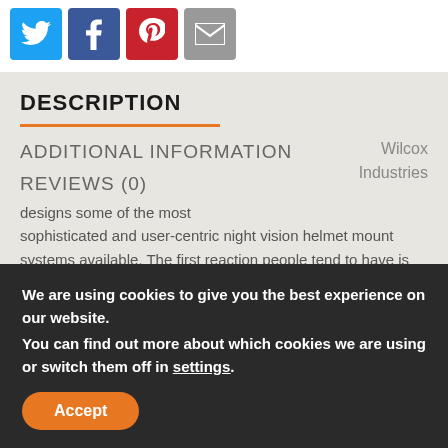[Figure (other): Social media sharing icons: Twitter (blue), Facebook (dark blue), Pinterest (red), Email (grey)]
DESCRIPTION
ADDITIONAL INFORMATION
REVIEWS (0)
Wilcox Industries designs some of the most sophisticated and user-centric night vision helmet mount systems available. The first reaction people tend to have is to balk at the price tag. Sure, it is expensive, but like everything: you get what you pay for. Wilcox helmet
We are using cookies to give you the best experience on our website.
You can find out more about which cookies we are using or switch them off in settings.
Accept